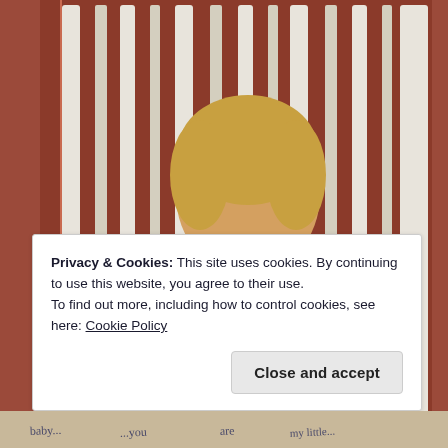[Figure (photo): A young toddler child kissing a newborn baby lying on a polka-dot blanket, both seated on a white distressed wooden bench/chair against a red-striped background. Below the photo is a strip with handwritten cursive text reading 'Greetings! So we are... and I'm... you... created... people...']
Privacy & Cookies: This site uses cookies. By continuing to use this website, you agree to their use.
To find out more, including how to control cookies, see here: Cookie Policy
Close and accept